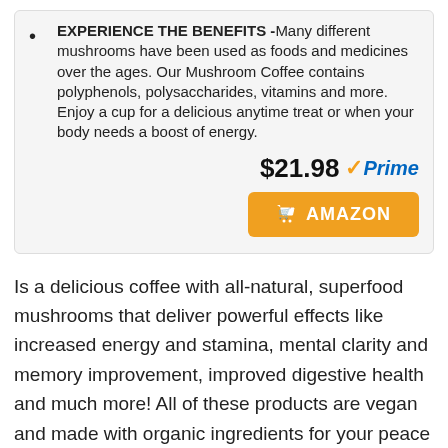EXPERIENCE THE BENEFITS -Many different mushrooms have been used as foods and medicines over the ages. Our Mushroom Coffee contains polyphenols, polysaccharides, vitamins and more. Enjoy a cup for a delicious anytime treat or when your body needs a boost of energy.
$21.98 Prime
[Figure (other): Orange Amazon shopping cart button with cart icon and text AMAZON]
Is a delicious coffee with all-natural, superfood mushrooms that deliver powerful effects like increased energy and stamina, mental clarity and memory improvement, improved digestive health and much more! All of these products are vegan and made with organic ingredients for your peace of mind.